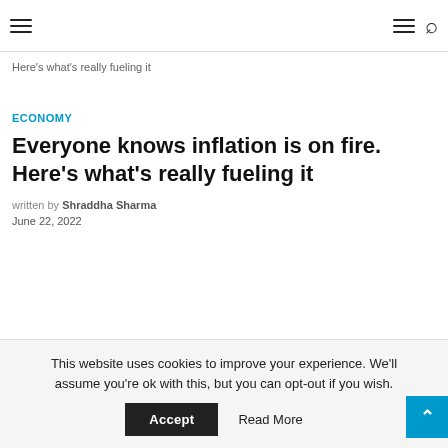Navigation header with hamburger menu and search icon
Here's what's really fueling it
ECONOMY
Everyone knows inflation is on fire. Here's what's really fueling it
written by Shraddha Sharma
June 22, 2022
This website uses cookies to improve your experience. We'll assume you're ok with this, but you can opt-out if you wish. Accept Read More